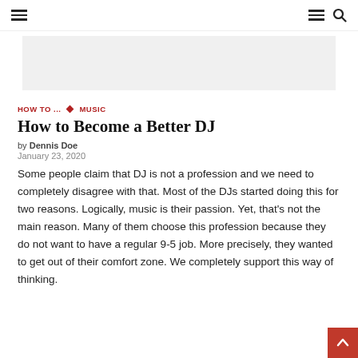Navigation header with hamburger menu and search icon
[Figure (other): Light gray banner/advertisement rectangle]
HOW TO ... ◆ MUSIC
How to Become a Better DJ
by Dennis Doe
January 23, 2020
Some people claim that DJ is not a profession and we need to completely disagree with that. Most of the DJs started doing this for two reasons. Logically, music is their passion. Yet, that's not the main reason. Many of them choose this profession because they do not want to have a regular 9-5 job. More precisely, they wanted to get out of their comfort zone. We completely support this way of thinking.